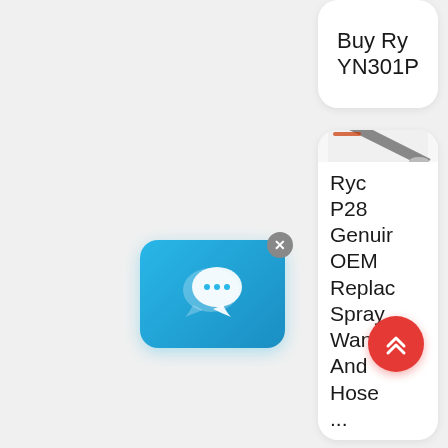Buy Ry YN301P
[Figure (photo): Product image of spray wands/hoses, metallic with red accents, bundled together]
Ryc P28 Genuin OEM Replac Spray Wand And Hose ...
[Figure (illustration): Chat bubble popup overlay with blue gradient background showing speech bubble icons]
[Figure (illustration): Red circular scroll-to-top button with white double chevron up arrow]